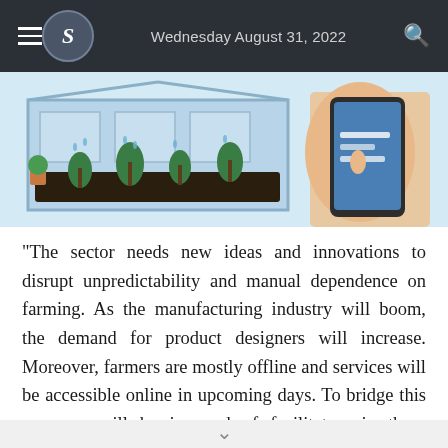Wednesday August 31, 2022
[Figure (illustration): Cartoon illustration of a smart greenhouse with plants being watered and a person holding a smartphone, depicting agricultural technology.]
"The sector needs new ideas and innovations to disrupt unpredictability and manual dependence on farming. As the manufacturing industry will boom, the demand for product designers will increase. Moreover, farmers are mostly offline and services will be accessible online in upcoming days. To bridge this gap, we will be in need of facilitators in these sectors."
Students of agriculture will require more